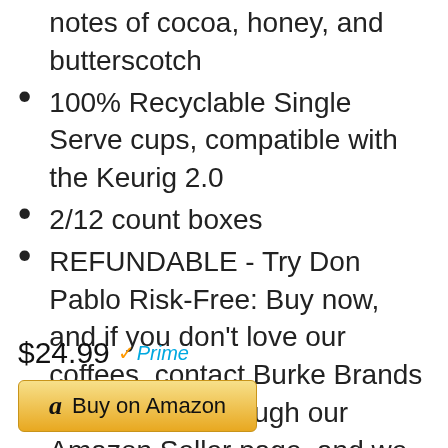notes of cocoa, honey, and butterscotch
100% Recyclable Single Serve cups, compatible with the Keurig 2.0
2/12 count boxes
REFUNDABLE - Try Don Pablo Risk-Free: Buy now, and if you don't love our coffees, contact Burke Brands LLC directly through our Amazon Seller page, and we will happily refund your order.
$24.99 Prime
Buy on Amazon